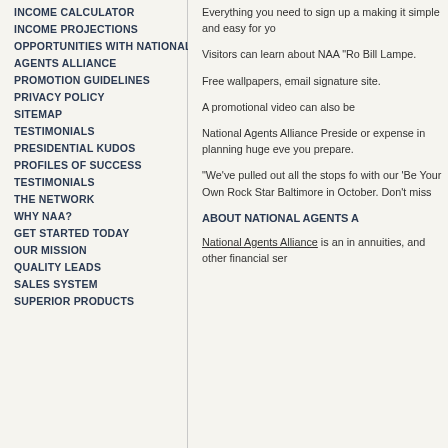INCOME CALCULATOR
INCOME PROJECTIONS
OPPORTUNITIES WITH NATIONAL
AGENTS ALLIANCE
PROMOTION GUIDELINES
PRIVACY POLICY
SITEMAP
TESTIMONIALS
PRESIDENTIAL KUDOS
PROFILES OF SUCCESS
TESTIMONIALS
THE NETWORK
WHY NAA?
GET STARTED TODAY
OUR MISSION
QUALITY LEADS
SALES SYSTEM
SUPERIOR PRODUCTS
Everything you need to sign up a making it simple and easy for yo
Visitors can learn about NAA “Ro Bill Lampe.
Free wallpapers, email signature site.
A promotional video can also be
National Agents Alliance Preside or expense in planning huge eve you prepare.
“We’ve pulled out all the stops fo with our ‘Be Your Own Rock Star Baltimore in October. Don’t miss
ABOUT NATIONAL AGENTS A
National Agents Alliance is an in annuities, and other financial ser